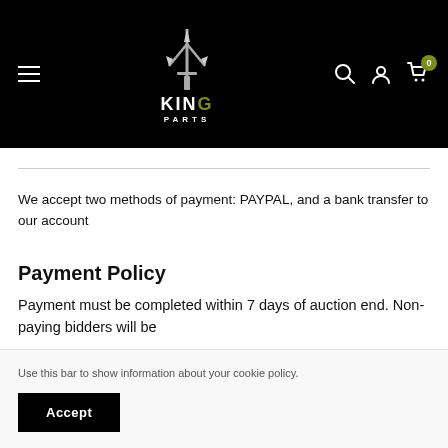[Figure (logo): King Parts logo with trident symbol on black header background, with hamburger menu on left and search/account/cart icons on right]
We accept two methods of payment: PAYPAL, and a bank transfer to our account
Payment Policy
Payment must be completed within 7 days of auction end. Non-paying bidders will be...
Use this bar to show information about your cookie policy.
We reserve the right to cancel the transaction